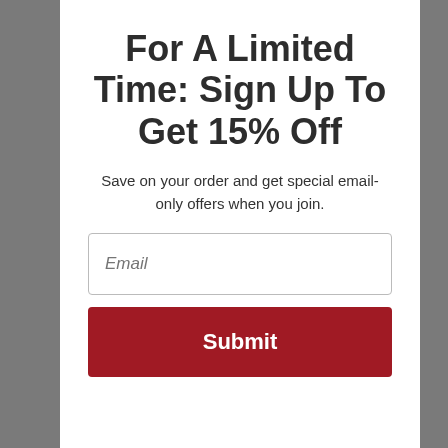For A Limited Time: Sign Up To Get 15% Off
Save on your order and get special email-only offers when you join.
[Figure (screenshot): Email input field with placeholder text 'Email' and a dark red Submit button below it]